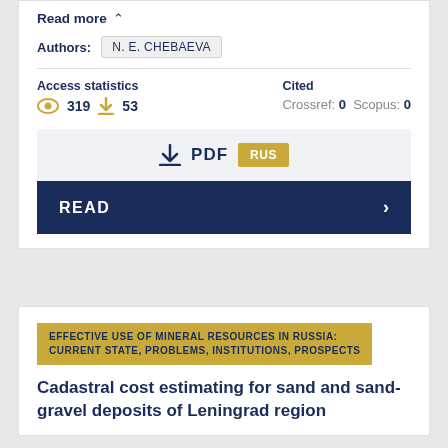Read more ∨
Authors: N. E. CHEBAEVA
Access statistics
319  53
Cited
Crossref: 0  Scopus: 0
↓ PDF RUS
READ ›
EFFECTIVE USE OF MINERAL RESOURCES IN RUSSIA: CURRENT STATE, PROBLEMS, INSTITUTIONS, PROSPECTS
Cadastral cost estimating for sand and sand-gravel deposits of Leningrad region